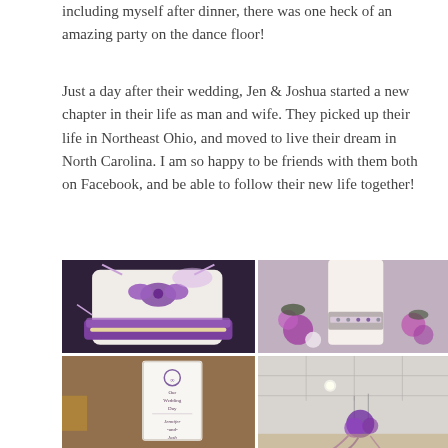including myself after dinner, there was one heck of an amazing party on the dance floor!
Just a day after their wedding, Jen & Joshua started a new chapter in their life as man and wife. They picked up their life in Northeast Ohio, and moved to live their dream in North Carolina. I am so happy to be friends with them both on Facebook, and be able to follow their new life together!
[Figure (photo): Four wedding detail photos arranged in a 2x2 grid: top-left shows a white and purple ring bearer pillow with purple satin ruffle and bow; top-right shows a white pillar candle with silver and purple rhinestone band surrounded by purple flowers; bottom-left shows a wedding program booklet on a brown textured surface; bottom-right shows purple tulle/flower decorations hanging from a ceiling at a reception venue.]